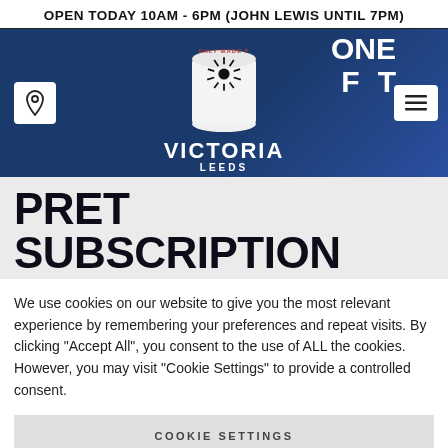OPEN TODAY 10AM - 6PM (JOHN LEWIS UNTIL 7PM)
[Figure (screenshot): Victoria Leeds shopping centre website hero banner with a Pret a Manger branded cup on a blue background, Victoria Leeds logo, location icon, and hamburger menu icon. Partial text 'ONE' and 'F—T' visible on right side.]
PRET
SUBSCRIPTION
We use cookies on our website to give you the most relevant experience by remembering your preferences and repeat visits. By clicking "Accept All", you consent to the use of ALL the cookies. However, you may visit "Cookie Settings" to provide a controlled consent.
COOKIE SETTINGS
ACCEPT ALL